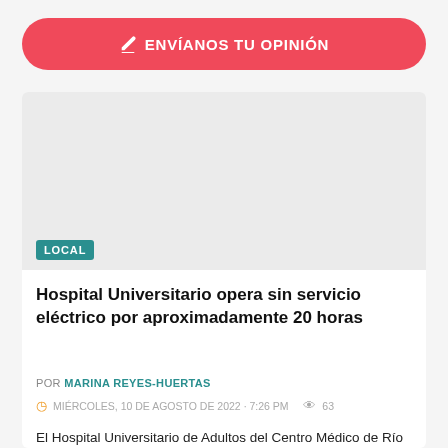[Figure (other): Red rounded button with edit icon and text ENVIANOS TU OPINIÓN]
[Figure (other): Grey image placeholder rectangle inside article card]
LOCAL
Hospital Universitario opera sin servicio eléctrico por aproximadamente 20 horas
POR MARINA REYES-HUERTAS
MIÉRCOLES, 10 DE AGOSTO DE 2022 · 7:26 PM   63
El Hospital Universitario de Adultos del Centro Médico de Río